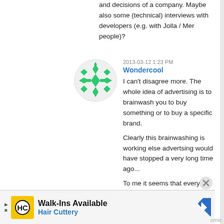and decisions of a company. Maybe also some (technical) interviews with developers (e.g. with Jolla / Mer people)?
2013-03-12 1:23 PM
Wondercool
I can't disagree more. The whole idea of advertising is to brainwash you to buy something or to buy a specific brand.
Clearly this brainwashing is working else advertsing would have stopped a very long time ago...
To me it seems that every year humans become more and more a consumer
[Figure (other): Circular avatar icon with green geometric/snowflake pattern on white background]
[Figure (other): Advertisement banner: Walk-Ins Available - Hair Cuttery, with HC logo and navigation arrow icon]